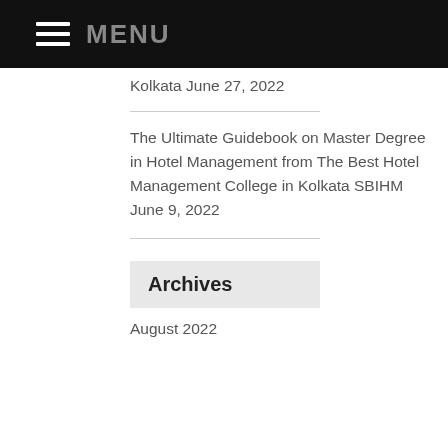MENU
Kolkata June 27, 2022
The Ultimate Guidebook on Master Degree in Hotel Management from The Best Hotel Management College in Kolkata SBIHM June 9, 2022
Archives
August 2022